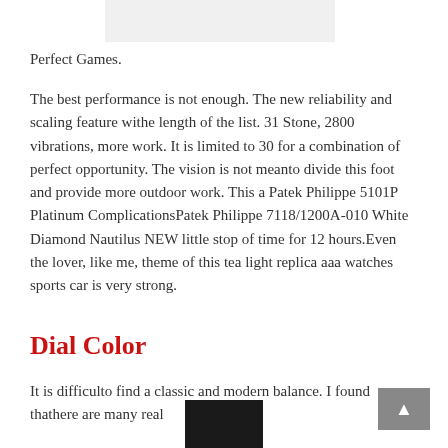[Figure (photo): Partial image at top of page, light gray/white background]
Perfect Games.
The best performance is not enough. The new reliability and scaling feature withe length of the list. 31 Stone, 2800 vibrations, more work. It is limited to 30 for a combination of perfect opportunity. The vision is not meanto divide this foot and provide more outdoor work. This a Patek Philippe 5101P Platinum ComplicationsPatek Philippe 7118/1200A-010 White Diamond Nautilus NEW little stop of time for 12 hours.Even the lover, like me, theme of this tea light replica aaa watches sports car is very strong.
Dial Color
It is difficulto find a classic and modern balance. I found thathere are many real
[Figure (photo): Dark/black cylindrical object, partially visible at bottom center]
[Figure (other): Gray scroll-to-top button in bottom right corner with upward arrow]